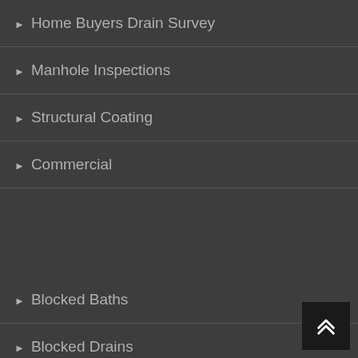Home Buyers Drain Survey
Manhole Inspections
Structural Coating
Commercial
Blocked Baths
Blocked Drains
Blocked Sewer
Blocked Sinks